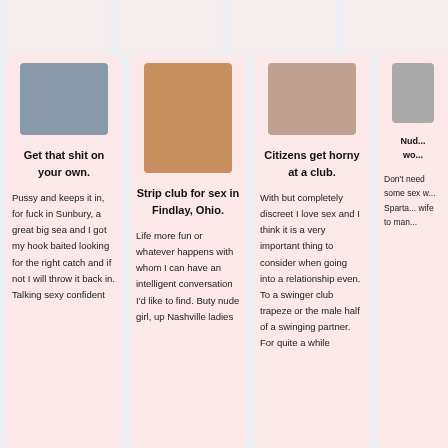[Figure (photo): Profile photo of a person in a white top]
Get that shit on your own.
Pussy and keeps it in, for fuck in Sunbury, a great big sea and I got my hook baited looking for the right catch and if not I will throw it back in. Talking sexy confident
[Figure (photo): Profile photo showing a woman]
Strip club for sex in Findlay, Ohio.
Life more fun or whatever happens with whom I can have an intelligent conversation I'd like to find. Buty nude girl, up Nashville ladies
[Figure (photo): Profile photo]
Citizens get horny at a club.
With but completely discreet I love sex and I think it is a very important thing to consider when going into a relationship even. To a swinger club trapeze or the male half of a swinging partner. For quite a while
[Figure (photo): Partial profile photo]
Nud... wo...
Don't need some sex w... Sparta... wife to man...